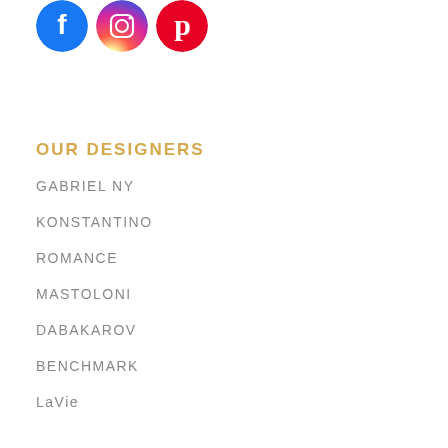[Figure (illustration): Three social media icons: Facebook (blue circle with white F), Instagram (gradient circle with camera icon), Pinterest (red circle with white P)]
OUR DESIGNERS
GABRIEL NY
KONSTANTINO
ROMANCE
MASTOLONI
DABAKAROV
BENCHMARK
LaVie